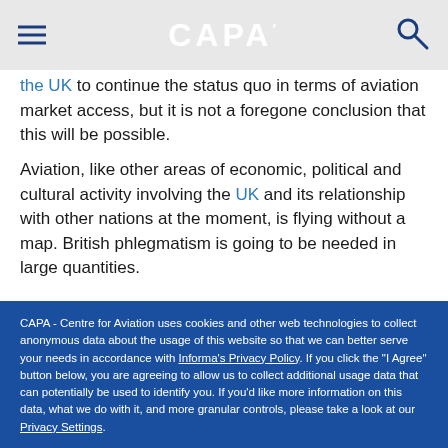CAPA
the UK to continue the status quo in terms of aviation market access, but it is not a foregone conclusion that this will be possible.
Aviation, like other areas of economic, political and cultural activity involving the UK and its relationship with other nations at the moment, is flying without a map. British phlegmatism is going to be needed in large quantities.
CAPA - Centre for Aviation uses cookies and other web technologies to collect anonymous data about the usage of this website so that we can better serve your needs in accordance with Informa's Privacy Policy. If you click the "I Agree" button below, you are agreeing to allow us to collect additional usage data that can potentially be used to identify you. If you'd like more information on this data, what we do with it, and more granular controls, please take a look at our Privacy Settings.
I Agree